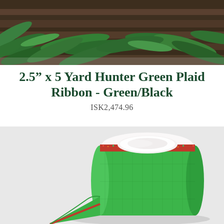[Figure (photo): Top photo showing evergreen fern/pine branches on a rustic wooden background, nature/holiday setting]
2.5" x 5 Yard Hunter Green Plaid Ribbon - Green/Black
ISK2,474.96
[Figure (photo): Product photo showing a roll of hunter green fabric ribbon with red and green glittery metallic edge trim, on a light gray background]